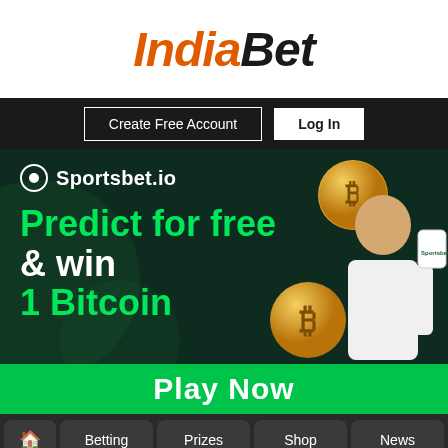[Figure (logo): IndiaBet logo with orange italic 'India' and black bold 'Bet' text]
[Figure (screenshot): Navigation bar with 'Create Free Account' outlined button and 'Log In' white button on dark background]
[Figure (infographic): Sportsbet.io advertisement banner on dark green background. Text reads 'Predict for free & win 1 Bitcoin' with Bitcoin coins, a man in white shirt holding a Sportsbet.io bag, and a 'Play Now' green button at the bottom]
[Figure (screenshot): Bottom navigation bar with Home icon, Betting, Prizes, Shop, and News buttons on dark background]